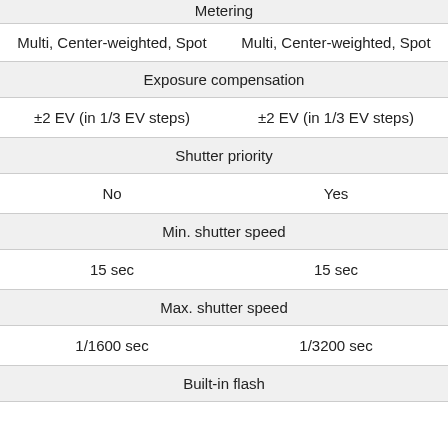| Metering |  |
| --- | --- |
| Multi, Center-weighted, Spot | Multi, Center-weighted, Spot |
| Exposure compensation |  |
| ±2 EV (in 1/3 EV steps) | ±2 EV (in 1/3 EV steps) |
| Shutter priority |  |
| No | Yes |
| Min. shutter speed |  |
| 15 sec | 15 sec |
| Max. shutter speed |  |
| 1/1600 sec | 1/3200 sec |
| Built-in flash |  |